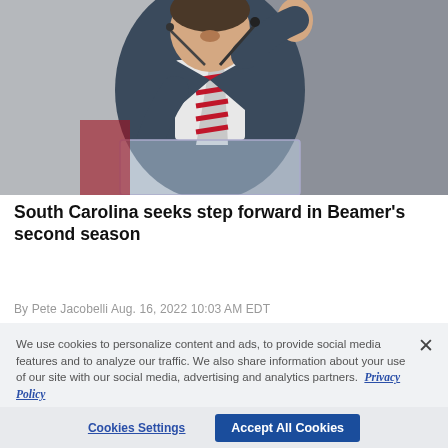[Figure (photo): A man in a dark suit with a red and white striped tie speaking at a clear podium with a microphone, raising his right hand.]
South Carolina seeks step forward in Beamer's second season
By Pete Jacobelli Aug. 16, 2022 10:03 AM EDT
We use cookies to personalize content and ads, to provide social media features and to analyze our traffic. We also share information about your use of our site with our social media, advertising and analytics partners.  Privacy Policy
Cookies Settings    Accept All Cookies